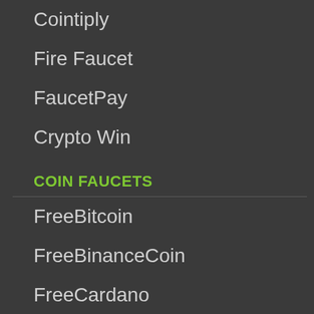Cointiply
Fire Faucet
FaucetPay
Crypto Win
COIN FAUCETS
FreeBitcoin
FreeBinanceCoin
FreeCardano
FreeChain...